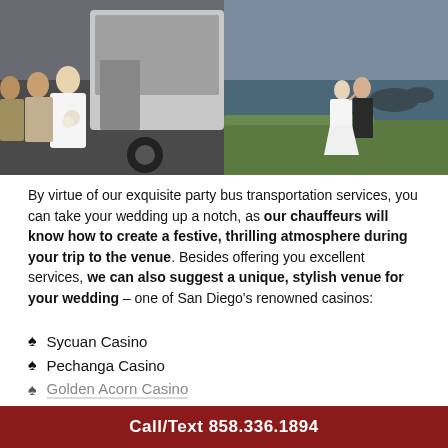[Figure (photo): Two side-by-side wedding photos: left shows bridesmaids and bride boarding a party bus; right shows a bride and groom standing on a grassy cliff by the ocean.]
By virtue of our exquisite party bus transportation services, you can take your wedding up a notch, as our chauffeurs will know how to create a festive, thrilling atmosphere during your trip to the venue. Besides offering you excellent services, we can also suggest a unique, stylish venue for your wedding – one of San Diego's renowned casinos:
Sycuan Casino
Pechanga Casino
Golden Acorn Casino
Call/Text 858.336.1894